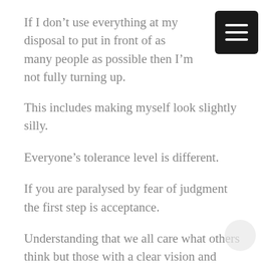If I don't use everything at my disposal to put in front of as many people as possible then I'm not fully turning up.
This includes making myself look slightly silly.
Everyone's tolerance level is different.
If you are paralysed by fear of judgment the first step is acceptance.
Understanding that we all care what others think but those with a clear vision and purpose will do the things they need to anyway.
Build the vision, crush the judgement.